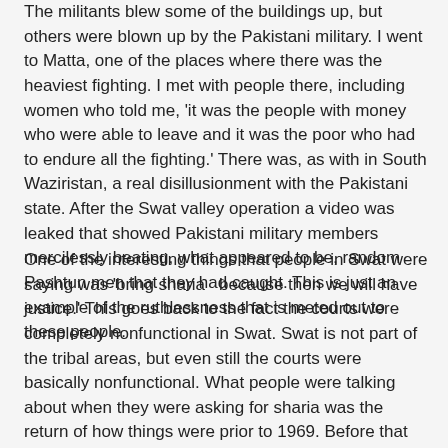The militants blew some of the buildings up, but others were blown up by the Pakistani military. I went to Matta, one of the places where there was the heaviest fighting. I met with people there, including women who told me, 'it was the people with money who were able to leave and it was the poor who had to endure all the fighting.' There was, as with in South Waziristan, a real disillusionment with the Pakistani state. After the Swat valley operation a video was leaked that showed Pakistani military members mercilessly beating, what appeared to be, random Pashtun men that they had caught. This is just an example of the ruthlessness that is meted out to these people.
One of the interesting things that people in Swat were saying was 'bring sharia  because then we will have justice.' This goes back to the fact the courts were completely nonfunctional in Swat. Swat is not part of the tribal areas, but even still the courts were basically nonfunctional. What people were talking about when they were asking for sharia was the return of how things were prior to 1969. Before that Swat was still autonomous and had not been appropriated by the Pakistani state. People remember this time with a lot of nostalgia. People remember that time as a time when there was just rule and expedient courts. This was a time of sharia. So when people call for sharia it's a call for justice. It's important to